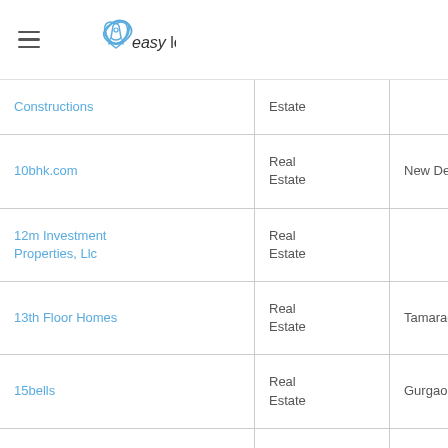easy leadz
| Company | Industry | Location |
| --- | --- | --- |
| Constructions | Real Estate |  |
| 10bhk.com | Real Estate | New Delhi,delhi |
| 12m Investment Properties, Llc | Real Estate |  |
| 13th Floor Homes | Real Estate | Tamarac,fl |
| 15bells | Real Estate | Gurgaon,haryana |
| 1836 Realty & Property | Real |  |